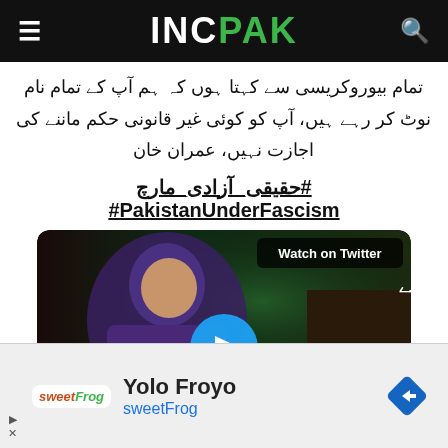INCPAK
تمام بیوروکریسی سے کہتا ہوں کہ ہم آپ کے تمام نام نوٹ کر رہے ہیں، آپ کو کوئی غیر قانونی حکم ماننے کی اجازت نہیں، عمران خان
#حقیقی_آزادی_مارچ
#PakistanUnderFascism
[Figure (screenshot): Embedded Twitter/video player showing Imran Khan speaking, with Urdu text overlay reading 'عوام بے خوف ہوکر نکلے!' and 'کوئی طاقت نہیں روک' and a play button. Top right shows 'Watch on Twitter' label.]
[Figure (infographic): Advertisement for Yolo Froyo by sweetFrog. Shows sweetFrog logo on left, 'Yolo Froyo' title and 'sweetFrog' link text in center, and a blue diamond navigation arrow on the right.]